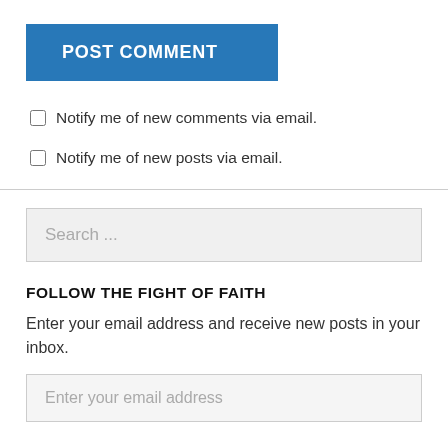POST COMMENT
Notify me of new comments via email.
Notify me of new posts via email.
Search ...
FOLLOW THE FIGHT OF FAITH
Enter your email address and receive new posts in your inbox.
Enter your email address